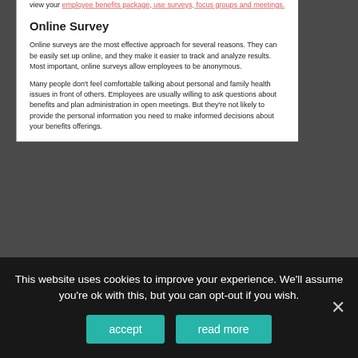view your employee benefits package, use surveys, focus groups and meetings.
Online Survey
Online surveys are the most effective approach for several reasons. They can be easily set up online, and they make it easier to track and analyze results. Most important, online surveys allow employees to be anonymous.
Many people don't feel comfortable talking about personal and family health issues in front of others. Employees are usually willing to ask questions about benefits and plan administration in open meetings. But they're not likely to provide the personal information you need to make informed decisions about your benefits offerings.
This website uses cookies to improve your experience. We'll assume you're ok with this, but you can opt-out if you wish.